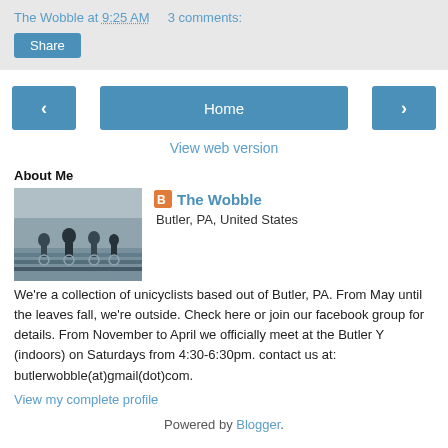The Wobble at 9:25 AM   3 comments:
Share
‹   Home   ›
View web version
About Me
[Figure (photo): Group photo of unicyclists on steps outdoors]
The Wobble
Butler, PA, United States
We're a collection of unicyclists based out of Butler, PA. From May until the leaves fall, we're outside. Check here or join our facebook group for details. From November to April we officially meet at the Butler Y (indoors) on Saturdays from 4:30-6:30pm. contact us at: butlerwobble(at)gmail(dot)com.
View my complete profile
Powered by Blogger.